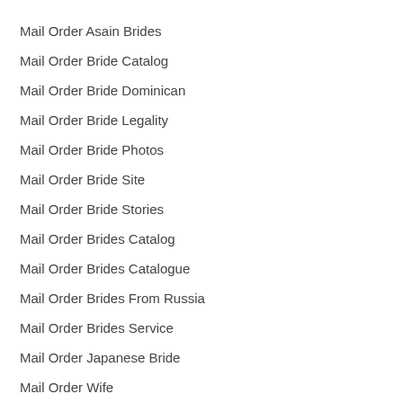Mail Order Asain Brides
Mail Order Bride Catalog
Mail Order Bride Dominican
Mail Order Bride Legality
Mail Order Bride Photos
Mail Order Bride Site
Mail Order Bride Stories
Mail Order Brides Catalog
Mail Order Brides Catalogue
Mail Order Brides From Russia
Mail Order Brides Service
Mail Order Japanese Bride
Mail Order Wife